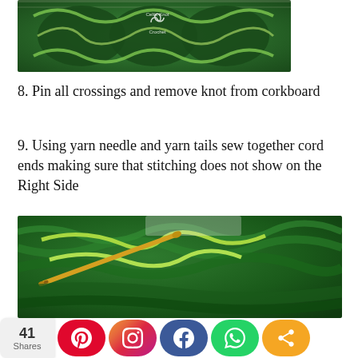[Figure (photo): Top-down photo of green Celtic knot crochet coasters on a white wooden surface, with Celtic Knot Crochet logo watermark]
8. Pin all crossings and remove knot from corkboard
9. Using yarn needle and yarn tails sew together cord ends making sure that stitching does not show on the Right Side
[Figure (photo): Close-up photo of green Celtic knot crochet work being sewn together with a golden yarn needle and yellow-green yarn]
41 Shares